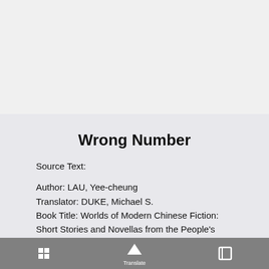Wrong Number
Source Text:
Author: LAU, Yee-cheung
Translator: DUKE, Michael S.
Book Title: Worlds of Modern Chinese Fiction: Short Stories and Novellas from the People's Republic, Taiwan and Hong Kong
Editor: DUKE, Michael S.